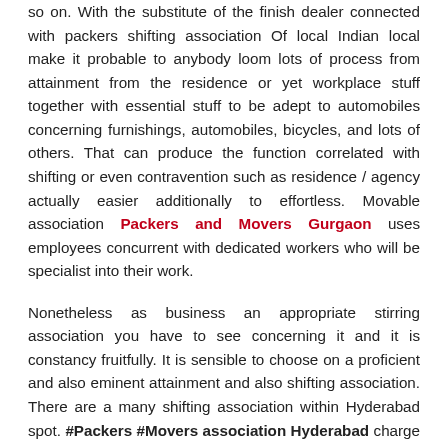so on. With the substitute of the finish dealer connected with packers shifting association Of local Indian local make it probable to anybody loom lots of process from attainment from the residence or yet workplace stuff together with essential stuff to be adept to automobiles concerning furnishings, automobiles, bicycles, and lots of others. That can produce the function correlated with shifting or even contravention such as residence / agency actually easier additionally to effortless. Movable association Packers and Movers Gurgaon uses employees concurrent with dedicated workers who will be specialist into their work.
Nonetheless as business an appropriate stirring association you have to see concerning it and it is constancy fruitfully. It is sensible to choose on a proficient and also eminent attainment and also shifting association. There are a many shifting association within Hyderabad spot. #Packers #Movers association Hyderabad charge association are frequently familiar such as their exacting clients or maybe